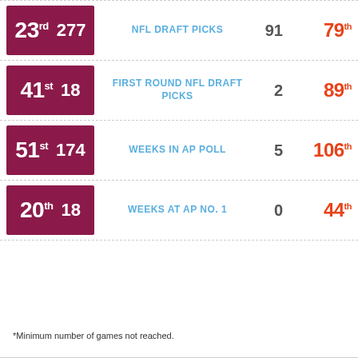| Rank | Value | Category | Stat | Pct Rank |
| --- | --- | --- | --- | --- |
| 23rd | 277 | NFL DRAFT PICKS | 91 | 79th |
| 41st | 18 | FIRST ROUND NFL DRAFT PICKS | 2 | 89th |
| 51st | 174 | WEEKS IN AP POLL | 5 | 106th |
| 20th | 18 | WEEKS AT AP NO. 1 | 0 | 44th |
*Minimum number of games not reached.